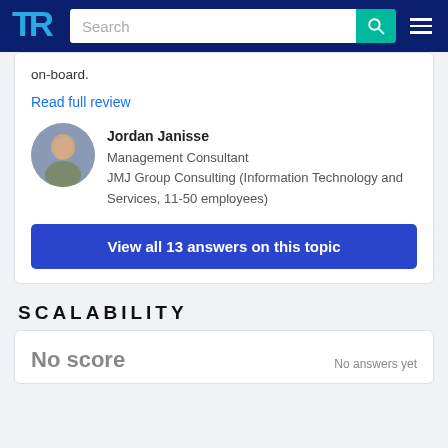TrustRadius - Search
on-board.
Read full review
Jordan Janisse
Management Consultant
JMJ Group Consulting (Information Technology and Services, 11-50 employees)
View all 13 answers on this topic
SCALABILITY
No score
No answers yet